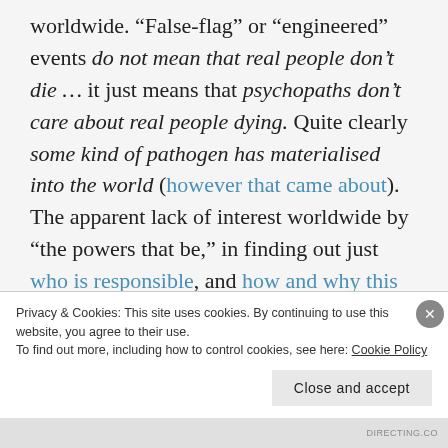worldwide. “False-flag” or “engineered” events do not mean that real people don’t die … it just means that psychopaths don’t care about real people dying. Quite clearly some kind of pathogen has materialised into the world (however that came about). The apparent lack of interest worldwide by “the powers that be,” in finding out just who is responsible, and how and why this virus was released into the world … has been staggering, and is of itself cause for
Privacy & Cookies: This site uses cookies. By continuing to use this website, you agree to their use.
To find out more, including how to control cookies, see here: Cookie Policy
Close and accept
DIRECTING.CO